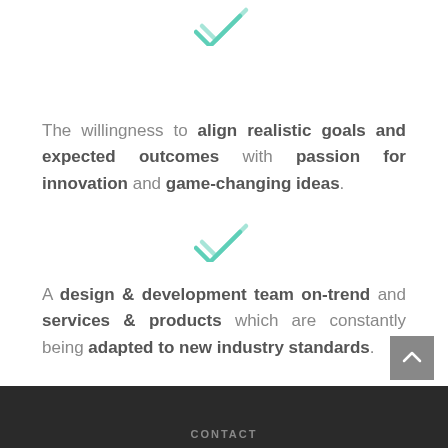[Figure (illustration): Teal/mint colored double checkmark icon at top center of page]
The willingness to align realistic goals and expected outcomes with passion for innovation and game-changing ideas.
[Figure (illustration): Teal/mint colored double checkmark icon centered in middle of page]
A design & development team on-trend and services & products which are constantly being adapted to new industry standards.
CONTACT